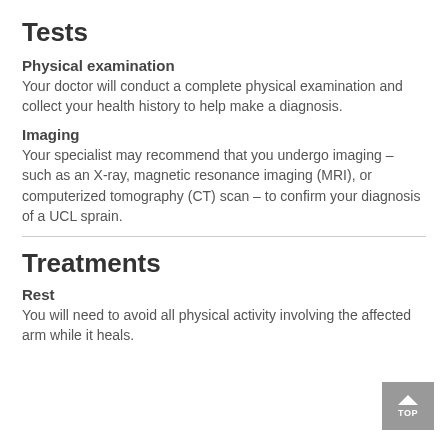Tests
Physical examination
Your doctor will conduct a complete physical examination and collect your health history to help make a diagnosis.
Imaging
Your specialist may recommend that you undergo imaging – such as an X-ray, magnetic resonance imaging (MRI), or computerized tomography (CT) scan – to confirm your diagnosis of a UCL sprain.
Treatments
Rest
You will need to avoid all physical activity involving the affected arm while it heals.